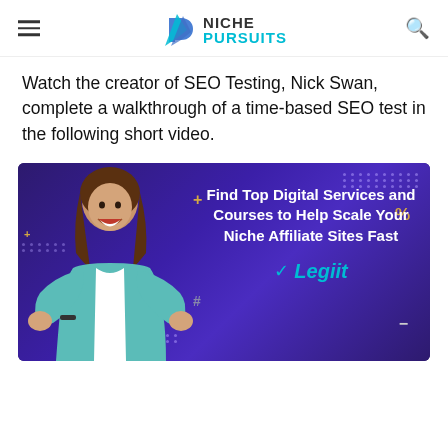NICHE PURSUITS
Watch the creator of SEO Testing, Nick Swan, complete a walkthrough of a time-based SEO test in the following short video.
[Figure (illustration): Advertisement banner with dark purple background showing an excited woman with fists raised, text reading 'Find Top Digital Services and Courses to Help Scale Your Niche Affiliate Sites Fast' and Legiit logo in teal.]